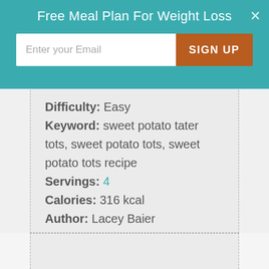Free Meal Plan For Weight Loss
Difficulty: Easy
Keyword: sweet potato tater tots, sweet potato tots, sweet potato tots recipe
Servings: 4
Calories: 316 kcal
Author: Lacey Baier